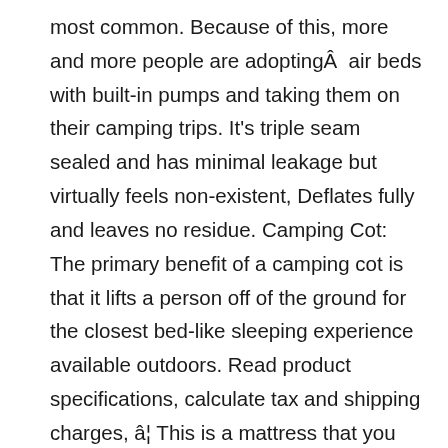most common. Because of this, more and more people are adoptingÂ  air beds with built-in pumps and taking them on their camping trips. It's triple seam sealed and has minimal leakage but virtually feels non-existent, Deflates fully and leaves no residue. Camping Cot: The primary benefit of a camping cot is that it lifts a person off of the ground for the closest bed-like sleeping experience available outdoors. Read product specifications, calculate tax and shipping charges, â¦ This is a mattress that you need to buy if you want quality and economy. It is puncture-proof, has a waterproof top, added durability and the ability to hold a maximum of 500 pounds. These pumps FULLY deflate the mattress so there's literally no air left inside. Dieser Pinnwand folgen